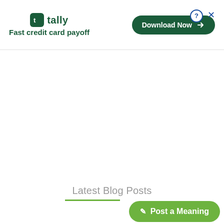[Figure (other): Tally app advertisement banner with logo, tagline 'Fast credit card payoff', and a 'Download Now' button]
Latest Blog Posts
[Figure (other): Green 'Post a Meaning' call-to-action button with pencil icon]